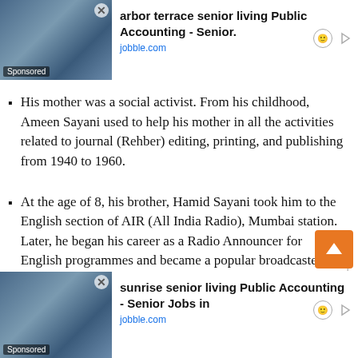His mother was a social activist. From his childhood, Ameen Sayani used to help his mother in all the activities related to journal (Rehber) editing, printing, and publishing from 1940 to 1960.
At the age of 8, his brother, Hamid Sayani took him to the English section of AIR (All India Radio), Mumbai station. Later, he began his career as a Radio Announcer for English programmes and became a popular broadcaster in English.
Later, he decided to broadcast in Hindi and was given a chance by Radio Ceylon for the same. In an interview, he stated that